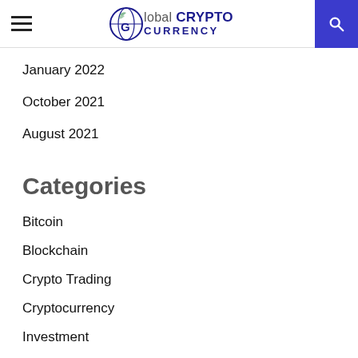Global CRYPTO CURRENCY
January 2022
October 2021
August 2021
Categories
Bitcoin
Blockchain
Crypto Trading
Cryptocurrency
Investment
TAGS